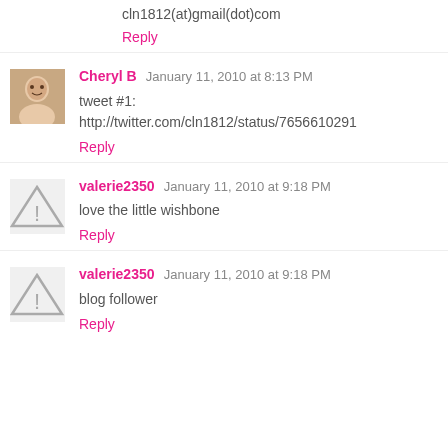cln1812(at)gmail(dot)com
Reply
Cheryl B  January 11, 2010 at 8:13 PM
tweet #1:
http://twitter.com/cln1812/status/7656610291
Reply
valerie2350  January 11, 2010 at 9:18 PM
love the little wishbone
Reply
valerie2350  January 11, 2010 at 9:18 PM
blog follower
Reply